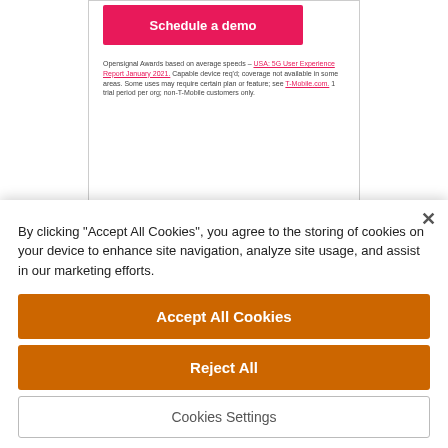[Figure (screenshot): T-Mobile card with a pink 'Schedule a demo' button and footnote text referencing Opensignal Awards and a link to USA: 5G User Experience Report January 2021]
"One of our guiding principles is to ensure our clients are kept current with technologies, which is
By clicking "Accept All Cookies", you agree to the storing of cookies on your device to enhance site navigation, analyze site usage, and assist in our marketing efforts.
Accept All Cookies
Reject All
Cookies Settings